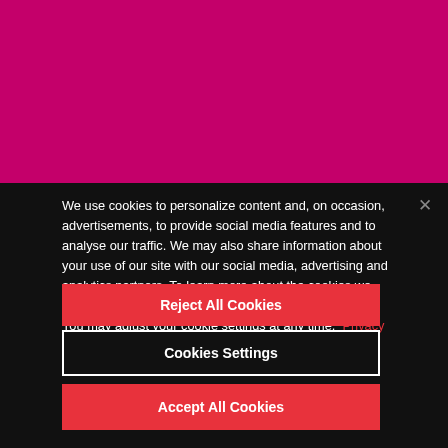[Figure (screenshot): Magenta/pink banner background at top of page]
We use cookies to personalize content and, on occasion, advertisements, to provide social media features and to analyse our traffic. We may also share information about your use of our site with our social media, advertising and analytics partners. To learn more about the cookies we use and your choices, please view our Privacy Notice. You may adjust your cookie settings at any time.  Privacy Policy
Cookies Settings
Reject All Cookies
Accept All Cookies